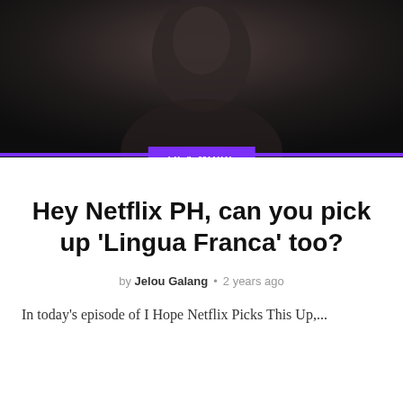[Figure (photo): Dark cinematic photo of a woman's profile/neck area with dark background]
TV & MOVIE
Hey Netflix PH, can you pick up 'Lingua Franca' too?
by Jelou Galang • 2 years ago
In today's episode of I Hope Netflix Picks This Up,...